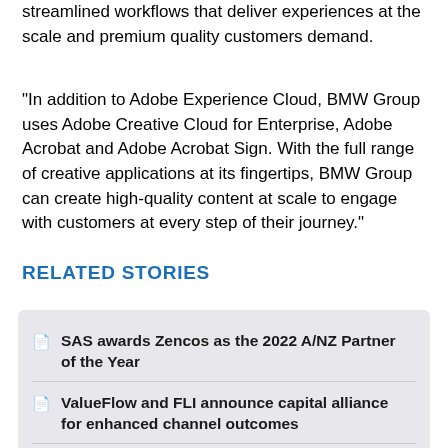streamlined workflows that deliver experiences at the scale and premium quality customers demand.
"In addition to Adobe Experience Cloud, BMW Group uses Adobe Creative Cloud for Enterprise, Adobe Acrobat and Adobe Acrobat Sign. With the full range of creative applications at its fingertips, BMW Group can create high-quality content at scale to engage with customers at every step of their journey."
RELATED STORIES
SAS awards Zencos as the 2022 A/NZ Partner of the Year
ValueFlow and FLI announce capital alliance for enhanced channel outcomes